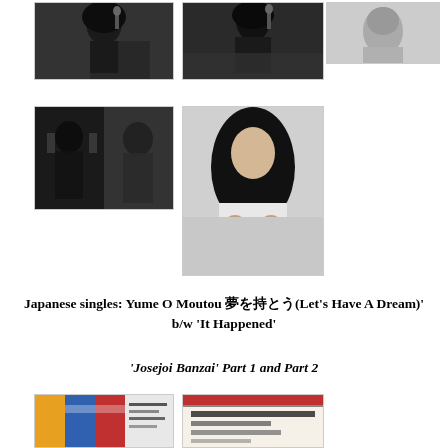[Figure (photo): Black and white photo of a person (top left)]
[Figure (photo): Black and white photo of a person (top center)]
[Figure (photo): Black and white photo, lighter/blurred (top right)]
[Figure (photo): Black and white photo of a person with hands up (middle left)]
[Figure (photo): Black and white portrait photo of a person with long dark hair (middle right, taller)]
Japanese singles: Yume O Moutou 夢を持とう(Let's Have A Dream)' b/w 'It Happened'
'Josejoi Banzai' Part 1 and Part 2
[Figure (photo): Album/single cover (bottom left)]
[Figure (photo): Album/single cover with Japanese text (bottom right)]